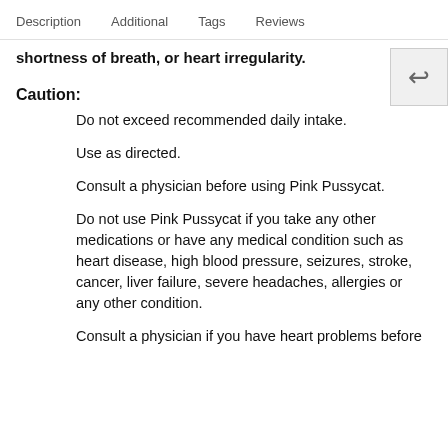Description   Additional   Tags   Reviews
shortness of breath, or heart irregularity.
Caution:
Do not exceed recommended daily intake.
Use as directed.
Consult a physician before using Pink Pussycat.
Do not use Pink Pussycat if you take any other medications or have any medical condition such as heart disease, high blood pressure, seizures, stroke, cancer, liver failure, severe headaches, allergies or any other condition.
Consult a physician if you have heart problems before